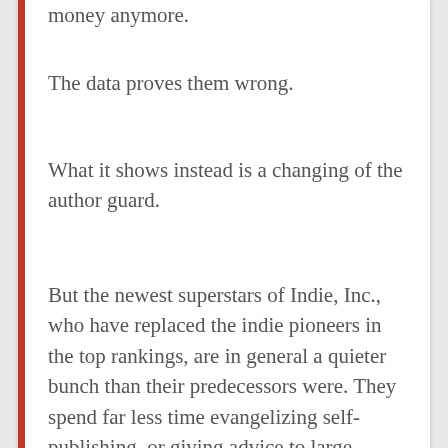money anymore.
The data proves them wrong.
What it shows instead is a changing of the author guard.
But the newest superstars of Indie, Inc., who have replaced the indie pioneers in the top rankings, are in general a quieter bunch than their predecessors were. They spend far less time evangelizing self-publishing, or giving advice to large groups of authors. And why would